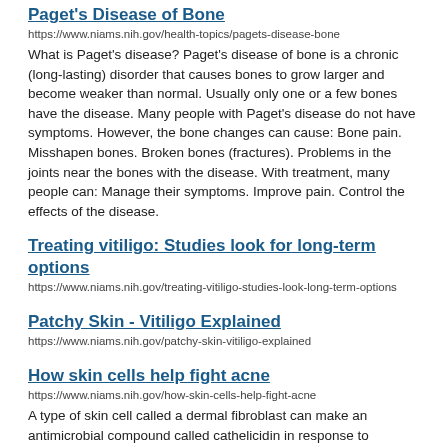Paget's Disease of Bone
https://www.niams.nih.gov/health-topics/pagets-disease-bone
What is Paget's disease? Paget's disease of bone is a chronic (long-lasting) disorder that causes bones to grow larger and become weaker than normal. Usually only one or a few bones have the disease. Many people with Paget's disease do not have symptoms. However, the bone changes can cause: Bone pain. Misshapen bones. Broken bones (fractures). Problems in the joints near the bones with the disease. With treatment, many people can: Manage their symptoms. Improve pain. Control the effects of the disease.
Treating vitiligo: Studies look for long-term options
https://www.niams.nih.gov/treating-vitiligo-studies-look-long-term-options
Patchy Skin - Vitiligo Explained
https://www.niams.nih.gov/patchy-skin-vitiligo-explained
How skin cells help fight acne
https://www.niams.nih.gov/how-skin-cells-help-fight-acne
A type of skin cell called a dermal fibroblast can make an antimicrobial compound called cathelicidin in response to infection